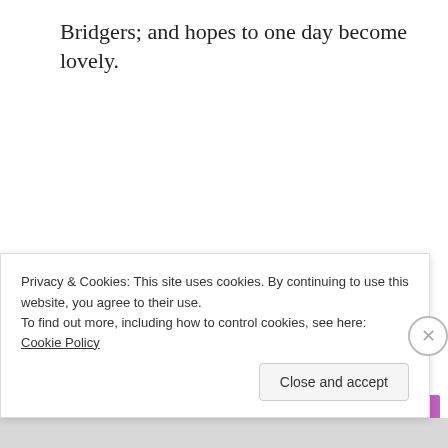Bridgers; and hopes to one day become lovely.
Share this:
Twitter
Facebook
Privacy & Cookies: This site uses cookies. By continuing to use this website, you agree to their use.
To find out more, including how to control cookies, see here: Cookie Policy
Close and accept